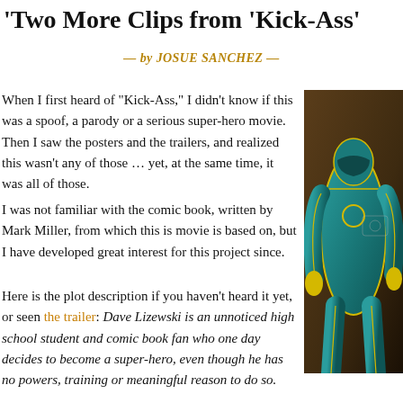Two More Clips from ‘Kick-Ass’
— by JOSUE SANCHEZ —
When I first heard of “Kick-Ass,” I didn’t know if this was a spoof, a parody or a serious super-hero movie. Then I saw the posters and the trailers, and realized this wasn’t any of those … yet, at the same time, it was all of those.
I was not familiar with the comic book, written by Mark Miller, from which this is movie is based on, but I have developed great interest for this project since.
Here is the plot description if you haven’t heard it yet, or seen the trailer: Dave Lizewski is an unnoticed high school student and comic book fan who one day decides to become a super-hero, even though he has no powers, training or meaningful reason to do so.
[Figure (photo): Illustration or 3D render of a superhero character in a teal/blue suit with yellow accents, shown from behind/side angle]
There is so much going in this story: the origin of Kick-Ass (Aaron Johnson): the Big Daddy (Nicholas Cage) and Hit Girl (Chloe Moretz) story; the gangster-villians; and the comic relief of Red Mist (Christopher Mintz-Plass…
The first and second trailer for “Kick-Ass” were very funny, and the red band trailer w… Actually, it was after seeing the red band trailer that they pocketed me and my interest…
In the two short clips below, we get a morsel of the humor of the movie, yet they are…